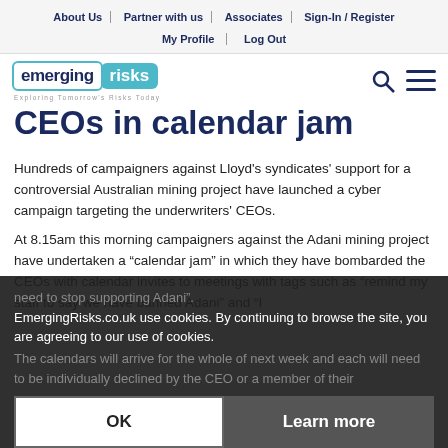About Us | Partner with us | Associates | Sign-In / Register | My Profile | Log Out
[Figure (logo): Emerging Risks logo with tagline 'Exploring Tomorrow's Risks Today']
CEOs in calendar jam
Hundreds of campaigners against Lloyd's syndicates' support for a controversial Australian mining project have launched a cyber campaign targeting the underwriters' CEOs.
At 8.15am this morning campaigners against the Adani mining project have undertaken a "calendar jam" in which they have bombarded the CEOs with calendar invites to meetings with tags such as "remind my staff to say we have banned Adani" and "I need to stop supporting Adani".
The calendars will arrive for the whole of next week and each will need to be individually declined by the CEO or a member of their
EmergingRisks.co.uk use cookies. By continuing to browse the site, you are agreeing to our use of cookies.